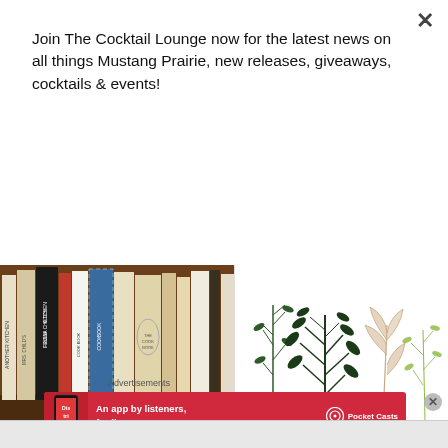Join The Cocktail Lounge now for the latest news on all things Mustang Prairie, new releases, giveaways, cocktails & events!
Join!
[Figure (photo): Photo of vintage cookbooks on a shelf, including 'From Julia Child's Kitchen' and a 'Cookbook']
[Figure (illustration): Illustrated botanical herbs and leaves decorative image]
Advertisements
[Figure (other): Advertisement banner: 'An app by listeners, for listeners.' with Pocket Casts logo and a phone showing 'Distributed']